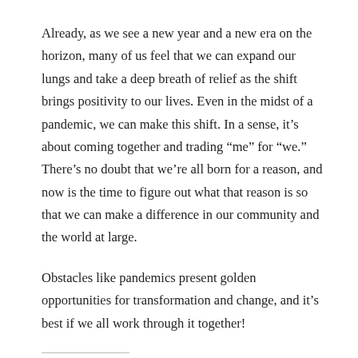Already, as we see a new year and a new era on the horizon, many of us feel that we can expand our lungs and take a deep breath of relief as the shift brings positivity to our lives. Even in the midst of a pandemic, we can make this shift. In a sense, it’s about coming together and trading “me” for “we.” There’s no doubt that we’re all born for a reason, and now is the time to figure out what that reason is so that we can make a difference in our community and the world at large.
Obstacles like pandemics present golden opportunities for transformation and change, and it’s best if we all work through it together!
Share this: